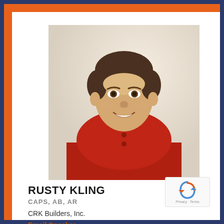[Figure (photo): Headshot photo of Rusty Kling, a middle-aged man with short dark hair, smiling, wearing a red zip-up pullover sweater, seated in a brown leather chair against a light beige wall.]
RUSTY KLING
CAPS, AB, AR
CRK Builders, Inc.
Email Speaker »